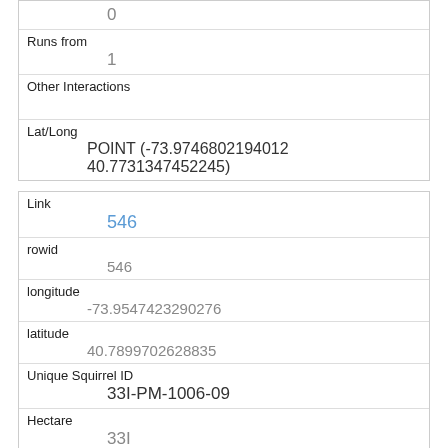|  | 0 |
| Runs from | 1 |
| Other Interactions |  |
| Lat/Long | POINT (-73.9746802194012 40.7731347452245) |
| Link | 546 |
| rowid | 546 |
| longitude | -73.9547423290276 |
| latitude | 40.7899702628835 |
| Unique Squirrel ID | 33I-PM-1006-09 |
| Hectare | 33I |
| Shift |  |